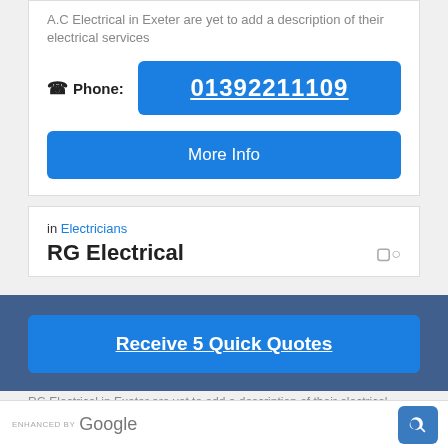A.C Electrical in Exeter are yet to add a description of their electrical services
Phone: 01392211109
More Info
in Electricians
RG Electrical
Receive 5 Quick Quotes
RG Electrical in Exeter are yet to add a description of their electrical services
ENHANCED BY Google